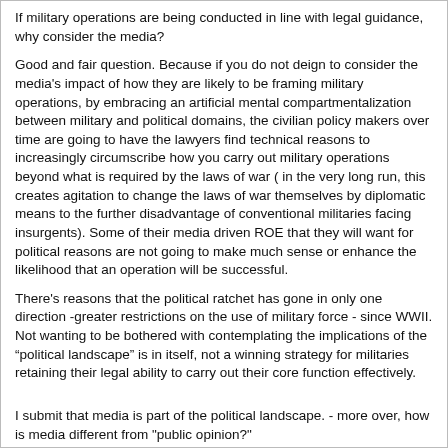If military operations are being conducted in line with legal guidance, why consider the media?
Good and fair question. Because if you do not deign to consider the media's impact of how they are likely to be framing military operations, by embracing an artificial mental compartmentalization between military and political domains, the civilian policy makers over time are going to have the lawyers find technical reasons to increasingly circumscribe how you carry out military operations beyond what is required by the laws of war ( in the very long run, this creates agitation to change the laws of war themselves by diplomatic means to the further disadvantage of conventional militaries facing insurgents). Some of their media driven ROE that they will want for political reasons are not going to make much sense or enhance the likelihood that an operation will be successful.
There's reasons that the political ratchet has gone in only one direction -greater restrictions on the use of military force - since WWII. Not wanting to be bothered with contemplating the implications of the “political landscape” is in itself, not a winning strategy for militaries retaining their legal ability to carry out their core function effectively.
I submit that media is part of the political landscape. - more over, how is media different from "public opinion?"
Having sat, in my time, at editorial meetings, it's the difference from being the playwright or the director and sitting in the audience watching the play unfold on stage. Any idea that the media reports rather than intentionally shapes is completely daft.
I submit that Steam and Telegraph has at least as substantial social and cultural effect, as the Internet, Computers and so-called modern media.
I agree. Not everyone adapted immediately or neatly though. It's a couple of generations between the experience of the Union using railroads and telegraphs in the Civil War or von Roon's mobilization reforms and the elaborate, universal scale seen in 1914. Moreover, von Roon faced heavy